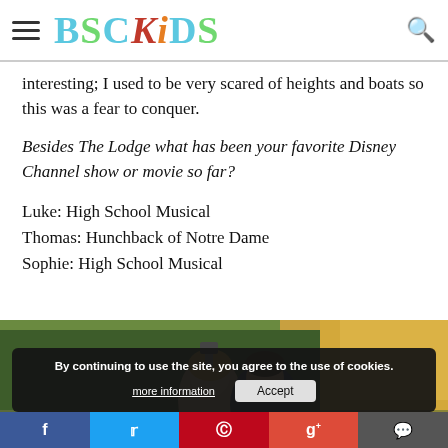BSCKiDS
interesting; I used to be very scared of heights and boats so this was a fear to conquer.
Besides The Lodge what has been your favorite Disney Channel show or movie so far?
Luke: High School Musical
Thomas: Hunchback of Notre Dame
Sophie: High School Musical
[Figure (photo): Two young people taking a selfie outdoors with autumn foliage in the background]
By continuing to use the site, you agree to the use of cookies. more information  Accept